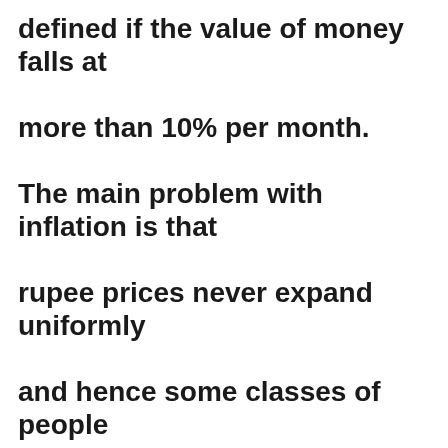defined if the value of money falls at more than 10% per month. The main problem with inflation is that rupee prices never expand uniformly and hence some classes of people gain unexpectedly while others suffer catastrophe. E.g., all those with debts